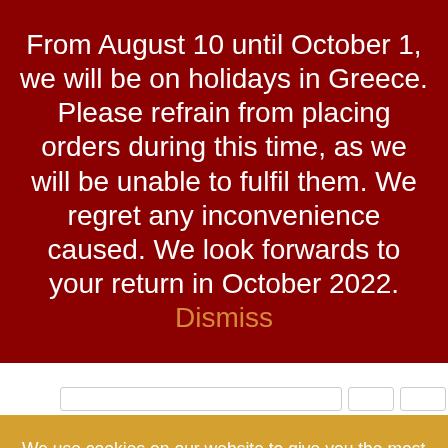From August 10 until October 1, we will be on holidays in Greece. Please refrain from placing orders during this time, as we will be unable to fulfil them. We regret any inconvenience caused. We look forwards to your return in October 2022. Dismiss
We use cookies on our website to give you the most relevant experience by remembering your preferences and repeat visits. By clicking “Accept”, you consent to the use of ALL the cookies.
Cookie settings
ACCEPT